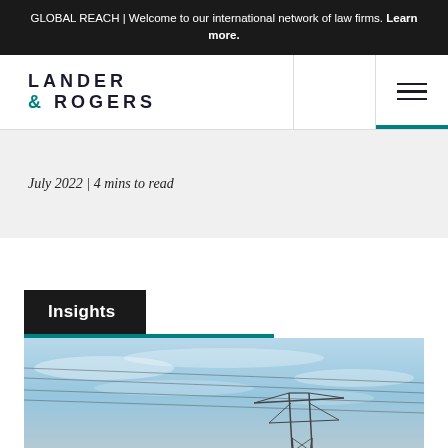GLOBAL REACH | Welcome to our international network of law firms. Learn more.
[Figure (logo): Lander & Rogers law firm logo with teal ampersand]
July 2022 | 4 mins to read
Insights
[Figure (photo): Power transmission tower and electrical wires against a blue sky with light clouds]